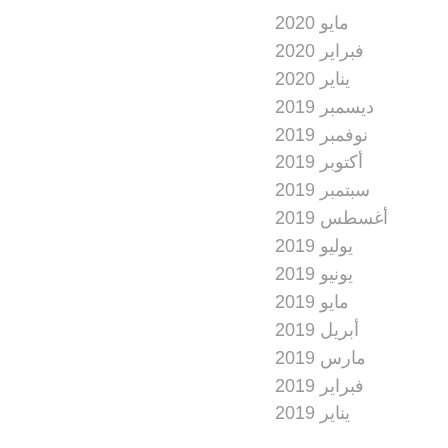مايو 2020
فبراير 2020
يناير 2020
ديسمبر 2019
نوفمبر 2019
أكتوبر 2019
سبتمبر 2019
أغسطس 2019
يوليو 2019
يونيو 2019
مايو 2019
أبريل 2019
مارس 2019
فبراير 2019
يناير 2019